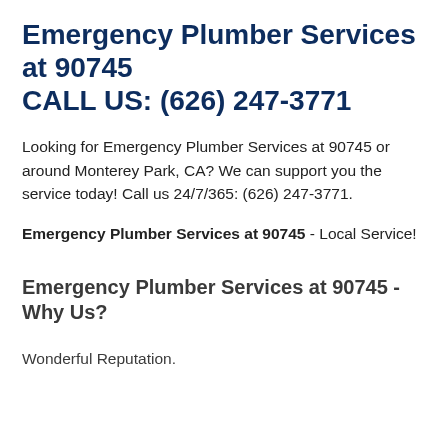Emergency Plumber Services at 90745
CALL US: (626) 247-3771
Looking for Emergency Plumber Services at 90745 or around Monterey Park, CA? We can support you the service today! Call us 24/7/365: (626) 247-3771.
Emergency Plumber Services at 90745 - Local Service!
Emergency Plumber Services at 90745 - Why Us?
Wonderful Reputation.